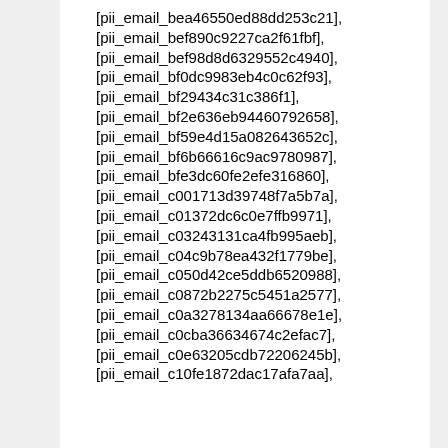[pii_email_bea46550ed88dd253c21],
[pii_email_bef890c9227ca2f61fbf],
[pii_email_bef98d8d6329552c4940],
[pii_email_bf0dc9983eb4c0c62f93],
[pii_email_bf29434c31c386f1],
[pii_email_bf2e636eb94460792658],
[pii_email_bf59e4d15a082643652c],
[pii_email_bf6b66616c9ac9780987],
[pii_email_bfe3dc60fe2efe316860],
[pii_email_c001713d39748f7a5b7a],
[pii_email_c01372dc6c0e7ffb9971],
[pii_email_c03243131ca4fb995aeb],
[pii_email_c04c9b78ea432f1779be],
[pii_email_c050d42ce5ddb6520988],
[pii_email_c0872b2275c5451a2577],
[pii_email_c0a3278134aa66678e1e],
[pii_email_c0cba36634674c2efac7],
[pii_email_c0e63205cdb72206245b],
[pii_email_c10fe1872dac17afa7aa],